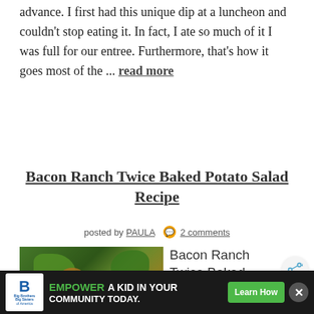advance. I first had this unique dip at a luncheon and couldn't stop eating it. In fact, I ate so much of it I was full for our entree. Furthermore, that's how it goes most of the ... read more
Bacon Ranch Twice Baked Potato Salad Recipe
posted by PAULA  2 comments
[Figure (photo): Photo of a colorful salad with green vegetables, orange and yellow pieces on a dark background]
Bacon Ranch Twice Baked Potato Salad
[Figure (other): Share icon button - circular with share/network symbol]
Big Brothers Big Sisters of America — EMPOWER A KID IN YOUR COMMUNITY TODAY. — Learn How